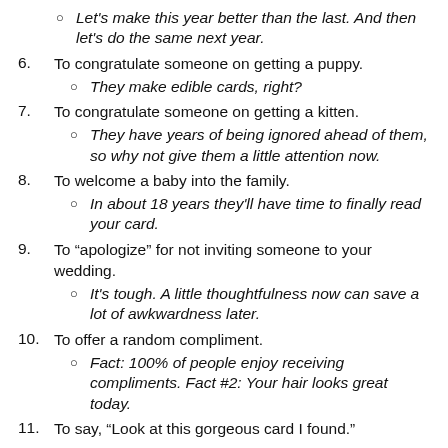Let's make this year better than the last. And then let's do the same next year.
6. To congratulate someone on getting a puppy.
They make edible cards, right?
7. To congratulate someone on getting a kitten.
They have years of being ignored ahead of them, so why not give them a little attention now.
8. To welcome a baby into the family.
In about 18 years they'll have time to finally read your card.
9. To “apologize” for not inviting someone to your wedding.
It's tough. A little thoughtfulness now can save a lot of awkwardness later.
10. To offer a random compliment.
Fact: 100% of people enjoy receiving compliments. Fact #2: Your hair looks great today.
11. To say, “Look at this gorgeous card I found.”